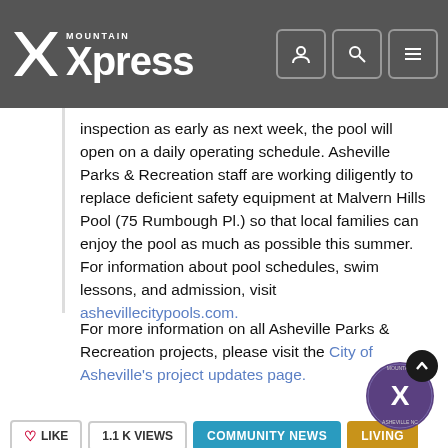Mountain Xpress
inspection as early as next week, the pool will open on a daily operating schedule. Asheville Parks & Recreation staff are working diligently to replace deficient safety equipment at Malvern Hills Pool (75 Rumbough Pl.) so that local families can enjoy the pool as much as possible this summer. For information about pool schedules, swim lessons, and admission, visit ashevillecitypools.com.
For more information on all Asheville Parks & Recreation projects, please visit the City of Asheville's project updates page.
LIKE
1.1 K VIEWS
COMMUNITY NEWS
LIVING
ASHEVILLE CITY POOLS
CHARLIE BULLMAN PARK
PRITCHARD PARK
ROGER FARMER MEMORIAL PARK
SPLASHEVILLE